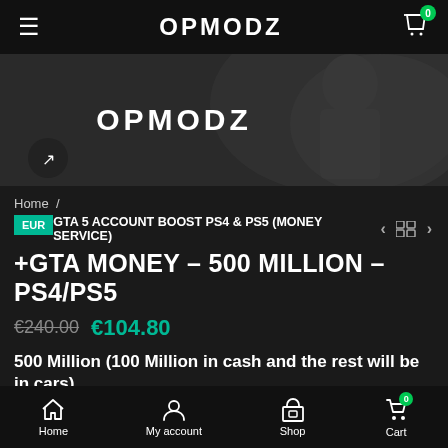OPMODZ
[Figure (screenshot): OPMODZ logo on dark background hero image]
Home /
GTA 5 ACCOUNT BOOST PS4 & PS5 (MONEY SERVICE)
GTA MONEY – 500 MILLION – PS4/PS5
€240.00  €104.80
500 Million (100 Million in cash and the rest will be in cars)
Home  My account  Shop  Cart